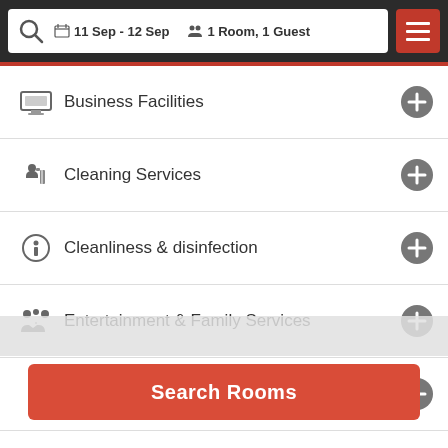11 Sep - 12 Sep | 1 Room, 1 Guest
Business Facilities
Cleaning Services
Cleanliness & disinfection
Entertainment & Family Services
Food & Drink
Food & drink safety
Search Rooms